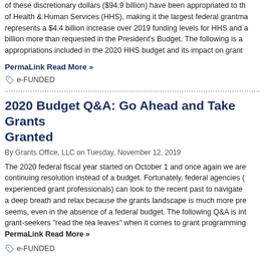of these discretionary dollars ($94.9 billion) have been appropriated to the Department of Health & Human Services (HHS), making it the largest federal grantmaker. This represents a $4.4 billion increase over 2019 funding levels for HHS and a billion more than requested in the President's Budget. The following is a appropriations included in the 2020 HHS budget and its impact on grant
PermaLink Read More »
e-FUNDED
2020 Budget Q&A: Go Ahead and Take Grants Granted
By Grants Office, LLC on Tuesday, November 12, 2019
The 2020 federal fiscal year started on October 1 and once again we are continuing resolution instead of a budget. Fortunately, federal agencies (experienced grant professionals) can look to the recent past to navigate a deep breath and relax because the grants landscape is much more pre seems, even in the absence of a federal budget. The following Q&A is in grant-seekers "read the tea leaves" when it comes to grant programming
PermaLink Read More »
e-FUNDED